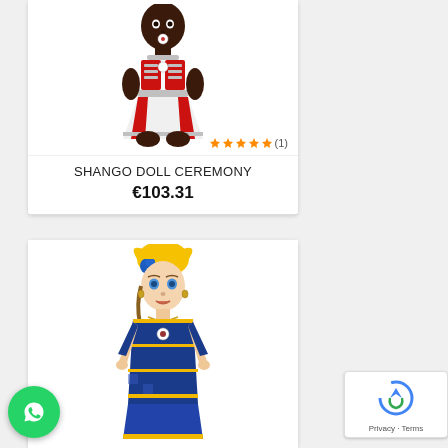[Figure (photo): A dark-skinned baby doll wearing a red and silver ceremonial dress with ornate decorations. Orange star ratings visible at bottom with (1) review count.]
SHANGO DOLL CEREMONY
€103.31
[Figure (photo): A light-skinned doll with long dark hair wearing a blue and yellow patterned dress with a yellow and blue headwrap/turban. Small logo badge on chest.]